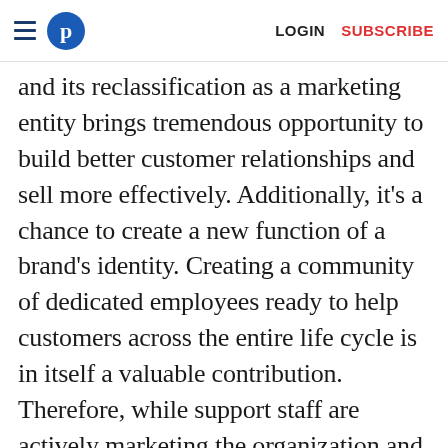≡ (logo) LOGIN SUBSCRIBE
and its reclassification as a marketing entity brings tremendous opportunity to build better customer relationships and sell more effectively. Additionally, it's a chance to create a new function of a brand's identity. Creating a community of dedicated employees ready to help customers across the entire life cycle is in itself a valuable contribution. Therefore, while support staff are actively marketing the organization and driving revenue, the traditional marketing and sales functions can use